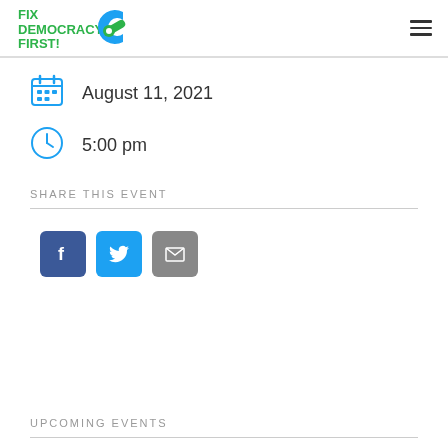Fix Democracy First!
August 11, 2021
5:00 pm
SHARE THIS EVENT
[Figure (infographic): Social share buttons: Facebook (blue), Twitter (light blue), Email (grey)]
UPCOMING EVENTS